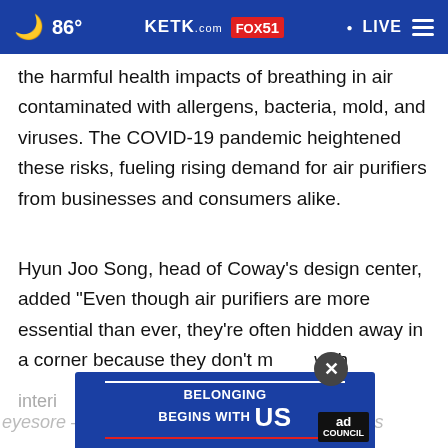86° KETK.com FOX51 LIVE
the harmful health impacts of breathing in air contaminated with allergens, bacteria, mold, and viruses. The COVID-19 pandemic heightened these risks, fueling rising demand for air purifiers from businesses and consumers alike.
Hyun Joo Song, head of Coway's design center, added "Even though air purifiers are more essential than ever, they're often hidden away in a corner because they don't match with interior
eyesore – it's eye candy. As the market matures
[Figure (screenshot): Ad Council advertisement banner: 'BELONGING BEGINS WITH US' on blue background with Ad Council badge]